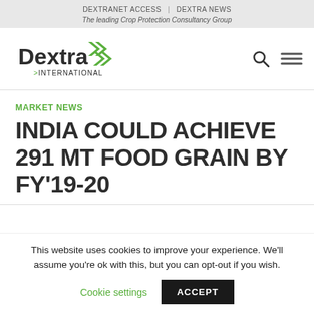DEXTRANET ACCESS | DEXTRA NEWS
The leading Crop Protection Consultancy Group
[Figure (logo): Dextra International logo with green chevron arrows and company name]
MARKET NEWS
INDIA COULD ACHIEVE 291 MT FOOD GRAIN BY FY'19-20
This website uses cookies to improve your experience. We'll assume you're ok with this, but you can opt-out if you wish.
Cookie settings    ACCEPT